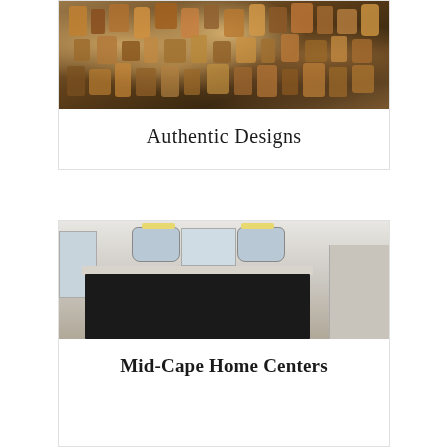[Figure (photo): Wall covered with many hanging lanterns, decorative items, copper and metal pieces in a warm-toned shop or studio setting]
Authentic Designs
[Figure (photo): Bright white bathroom with dark vanity, double mirrors with sconce lighting, central window, and a shower on the right]
Mid-Cape Home Centers